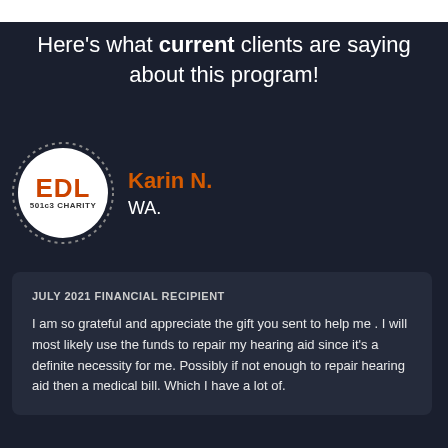Here's what current clients are saying about this program!
[Figure (logo): EDL 501c3 Charity circular logo with orange EDL text on white background with dotted ring]
Karin N.
WA.
JULY 2021 FINANCIAL RECIPIENT
I am so grateful and appreciate the gift you sent to help me . I will most likely use the funds to repair my hearing aid since it's a definite necessity for me. Possibly if not enough to repair hearing aid then a medical bill. Which I have a lot of.